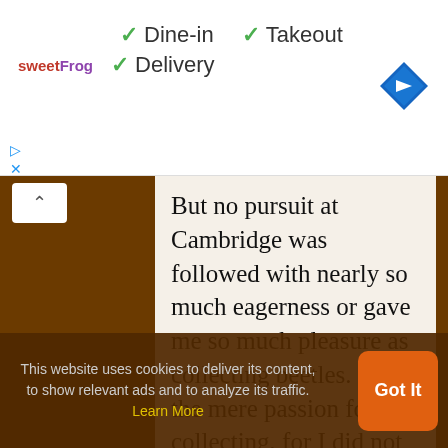[Figure (screenshot): Top bar with sweetFrog logo, checkmarks for Dine-in, Takeout, Delivery options, and a blue navigation diamond icon on the right]
But no pursuit at Cambridge was followed with nearly so much eagerness or gave me so much pleasure as collecting beetles. It was the mere passion for collecting, for I did not dissect them, and rarely compared their external characters with published descriptions, but got them named anyhow. I will give a proof of my zeal: one
This website uses cookies to deliver its content, to show relevant ads and to analyze its traffic. Learn More
Got It